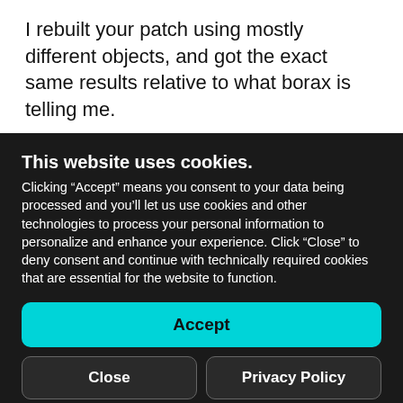I rebuilt your patch using mostly different objects, and got the exact same results relative to what borax is telling me.
Very interesting, but I have no idea what causing
This website uses cookies. Clicking “Accept” means you consent to your data being processed and you’ll let us use cookies and other technologies to process your personal information to personalize and enhance your experience. Click “Close” to deny consent and continue with technically required cookies that are essential for the website to function.
Accept
Close
Privacy Policy